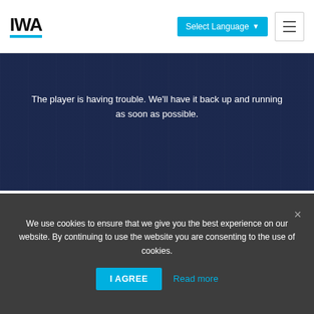IWA | Select Language
[Figure (screenshot): Video player area with dark blue background showing an error message overlay. Text reads: The player is having trouble. We'll have it back up and running as soon as possible.]
The player is having trouble. We'll have it back up and running as soon as possible.
Adam Lovell
Executive Director, Water Services Association of Australia
We use cookies to ensure that we give you the best experience on our website. By continuing to use the website you are consenting to the use of cookies.